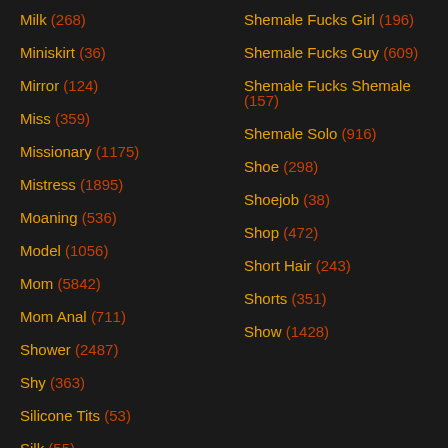Milk (268)
Miniskirt (36)
Mirror (124)
Miss (359)
Missionary (1175)
Mistress (1895)
Moaning (536)
Model (1056)
Mom (5842)
Mom Anal (711)
Shower (2487)
Shy (363)
Silicone Tits (53)
Silk (55)
Sin (59)
Shemale Fucks Girl (196)
Shemale Fucks Guy (609)
Shemale Fucks Shemale (157)
Shemale Solo (916)
Shoe (298)
Shoejob (38)
Shop (472)
Short Hair (243)
Shorts (351)
Show (1428)